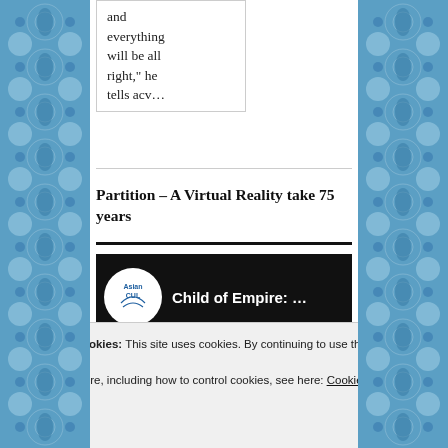and everything will be all right," he tells acv…
Partition – A Virtual Reality take 75 years
[Figure (screenshot): Video thumbnail showing 'Child of Empire: ...' with Asian CUL logo and play button on dark background]
Privacy & Cookies: This site uses cookies. By continuing to use this website, you agree to their use.
To find out more, including how to control cookies, see here: Cookie Policy
Close and accept